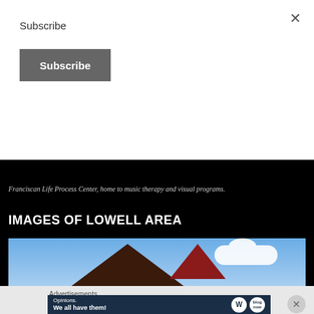Subscribe
Subscribe
Franciscan Life Process Center, home to music therapy and visual programs.
IMAGES OF LOWELL AREA
[Figure (photo): Rooftop of a building with dark triangular gable and red accent gable against blue sky with clouds]
Advertisements
[Figure (screenshot): Advertisement banner reading 'Opinions. We all have them!' with WordPress logo and another circular logo on dark navy background]